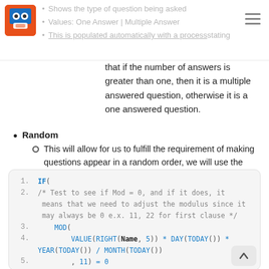Shows the type of question being asked • Values: One Answer | Multiple Answer • This is populated automatically with a process stating
that if the number of answers is greater than one, then it is a multiple answered question, otherwise it is a one answered question.
Random
This will allow for us to fulfill the requirement of making questions appear in a random order, we will use the same formula for answers.
[Figure (screenshot): Code block showing a formula with IF, MOD, VALUE, RIGHT, DAY, TODAY, YEAR, MONTH functions with line numbers 1-9+]